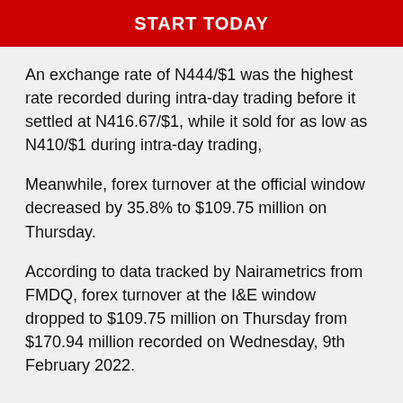[Figure (other): Red banner with bold white text reading START TODAY]
An exchange rate of N444/$1 was the highest rate recorded during intra-day trading before it settled at N416.67/$1, while it sold for as low as N410/$1 during intra-day trading,
Meanwhile, forex turnover at the official window decreased by 35.8% to $109.75 million on Thursday.
According to data tracked by Nairametrics from FMDQ, forex turnover at the I&E window dropped to $109.75 million on Thursday from $170.94 million recorded on Wednesday, 9th February 2022.